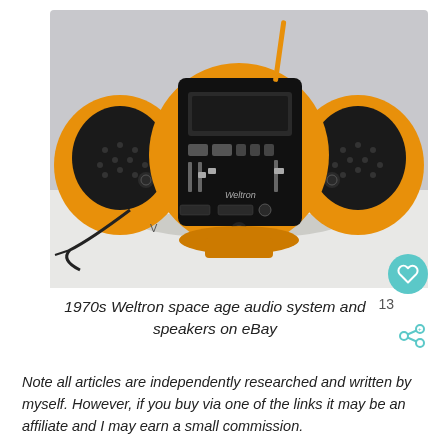[Figure (photo): 1970s Weltron space age audio system with yellow spherical body and two round black speakers on either side, sitting on a white surface. The central unit shows a cassette/radio control panel with the Weltron branding visible.]
1970s Weltron space age audio system and speakers on eBay
Note all articles are independently researched and written by myself. However, if you buy via one of the links it may be an affiliate and I may earn a small commission.